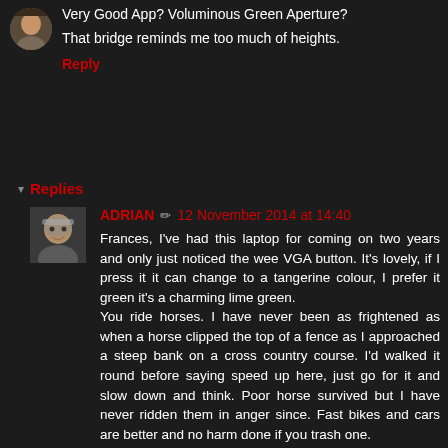Very Good App? Voluminous Green Aperture?
That bridge reminds me too much of heights.
Reply
Replies
ADRIAN  12 November 2014 at 14:40
Frances, I've had this laptop for coming on two years and only just noticed the wee VGA button. It's lovely, if I press it it can change to a tangerine colour, I prefer it green it's a charming lime green.
You ride horses. I have never been as frightened as when a horse clipped the top of a fence as I approached a steep bank on a cross country course. I'd walked it round before saying speed up here, just go for it and slow down and think. Poor horse survived but I have never ridden them in anger since. Fast bikes and cars are better and no harm done if you trash one.